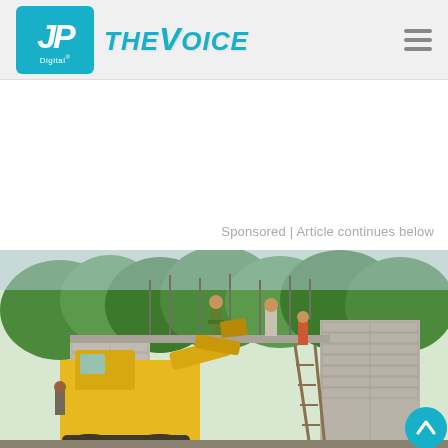JP Digital | THE VOICE
Sponsored | Article continues below
[Figure (photo): Construction site photo showing workers on top of a concrete block wall under construction, with a yellow backhoe/excavator in the foreground and green trees in the background.]